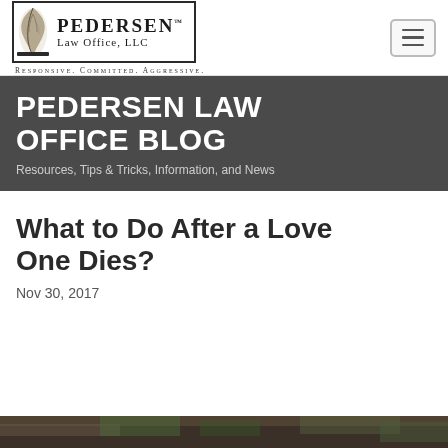[Figure (logo): Pedersen Law Office LLC logo with feather quill graphic and tagline: Responsive. Committed. Aggressive.]
PEDERSEN LAW OFFICE BLOG
Resources, Tips & Tricks, Information, and News
What to Do After a Love One Dies?
Nov 30, 2017
[Figure (photo): Partial image of an outdoor scene at the bottom of the page]